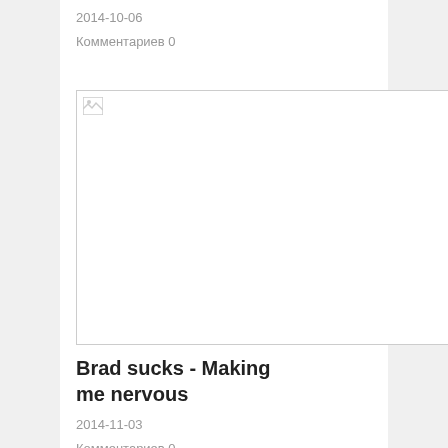2014-10-06
Комментариев 0
[Figure (photo): Broken image placeholder with white background and thin border]
Brad sucks - Making me nervous
2014-11-03
Комментариев 0
[Figure (photo): Screenshot of a person with an afro hairstyle and mustache wearing a pink top, dark background at top and bottom]
Group «Queen» -